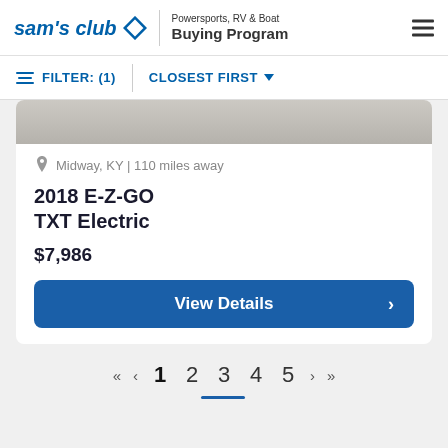sam's club — Powersports, RV & Boat Buying Program
FILTER: (1)   CLOSEST FIRST
Midway, KY | 110 miles away
2018 E-Z-GO TXT Electric
$7,986
View Details
« ‹ 1 2 3 4 5 › »